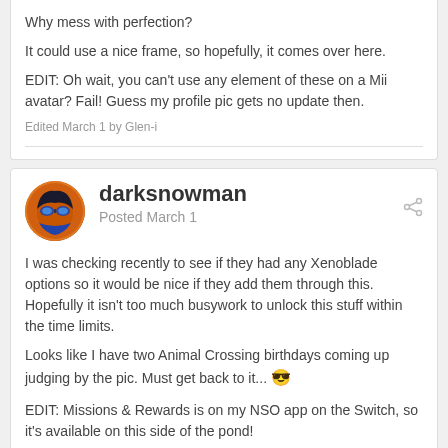Why mess with perfection?
It could use a nice frame, so hopefully, it comes over here.
EDIT: Oh wait, you can't use any element of these on a Mii avatar? Fail! Guess my profile pic gets no update then.
Edited March 1 by Glen-i
darksnowman
Posted March 1
I was checking recently to see if they had any Xenoblade options so it would be nice if they add them through this. Hopefully it isn't too much busywork to unlock this stuff within the time limits.
Looks like I have two Animal Crossing birthdays coming up judging by the pic. Must get back to it...
EDIT: Missions & Rewards is on my NSO app on the Switch, so it's available on this side of the pond!